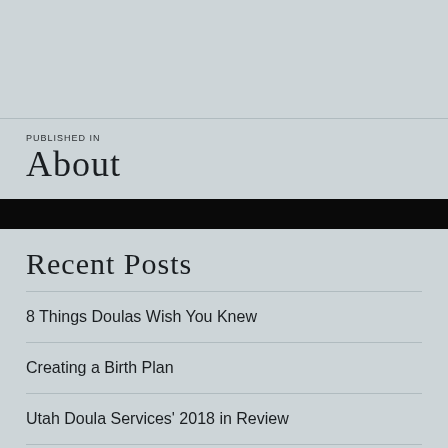PUBLISHED IN
About
Recent Posts
8 Things Doulas Wish You Knew
Creating a Birth Plan
Utah Doula Services' 2018 in Review